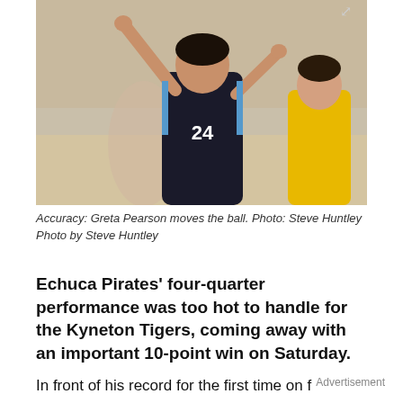[Figure (photo): Basketball player Greta Pearson (#24) in a black and blue jersey with both arms raised, moving the ball on court. Another player in a yellow jersey visible in the background.]
Accuracy: Greta Pearson moves the ball. Photo: Steve Huntley
Photo by Steve Huntley
Echuca Pirates’ four-quarter performance was too hot to handle for the Kyneton Tigers, coming away with an important 10-point win on Saturday.
In front of his record for the first time on f...
Advertisement